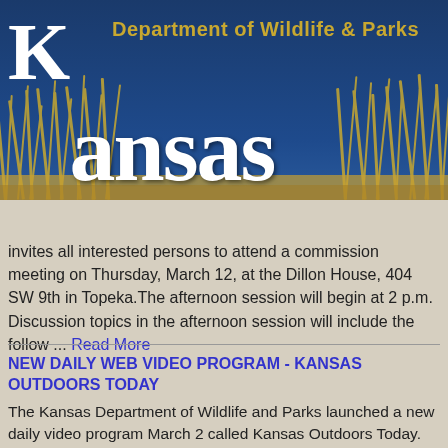Kansas Department of Wildlife & Parks
MENU
invites all interested persons to attend a commission meeting on Thursday, March 12, at the Dillon House, 404 SW 9th in Topeka. The afternoon session will begin at 2 p.m. Discussion topics in the afternoon session will include the follow ... Read More
NEW DAILY WEB VIDEO PROGRAM - KANSAS OUTDOORS TODAY
The Kansas Department of Wildlife and Parks launched a new daily video program March 2 called Kansas Outdoors Today. Kansas outdoor news and resource information will be covered in all aspects by short, news-style video clips on the Kansas Wildlife and Parks website, kdwp.state.ks.us.